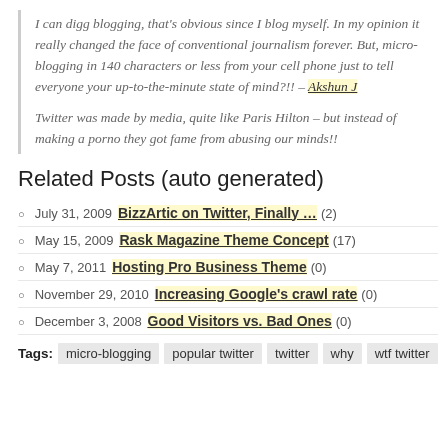I can digg blogging, that's obvious since I blog myself. In my opinion it really changed the face of conventional journalism forever. But, micro-blogging in 140 characters or less from your cell phone just to tell everyone your up-to-the-minute state of mind?!! – Akshun J
Twitter was made by media, quite like Paris Hilton – but instead of making a porno they got fame from abusing our minds!!
Related Posts (auto generated)
July 31, 2009 BizzArtic on Twitter, Finally … (2)
May 15, 2009 Rask Magazine Theme Concept (17)
May 7, 2011 Hosting Pro Business Theme (0)
November 29, 2010 Increasing Google's crawl rate (0)
December 3, 2008 Good Visitors vs. Bad Ones (0)
Tags: micro-blogging popular twitter twitter why wtf twitter